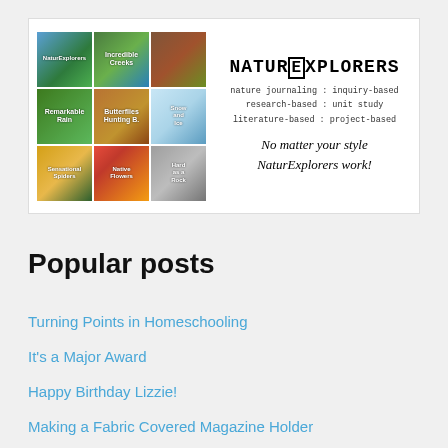[Figure (illustration): NaturExplorers advertisement banner showing a 3x3 grid of nature photography thumbnails (plants, creeks, frog, rain, butterflies, snow trees, spiders, flowers, rocks) alongside the brand name NaturExplorers with taglines: nature journaling : inquiry-based, research-based : unit study, literature-based : project-based, No matter your style NaturExplorers work!]
Popular posts
Turning Points in Homeschooling
It's a Major Award
Happy Birthday Lizzie!
Making a Fabric Covered Magazine Holder